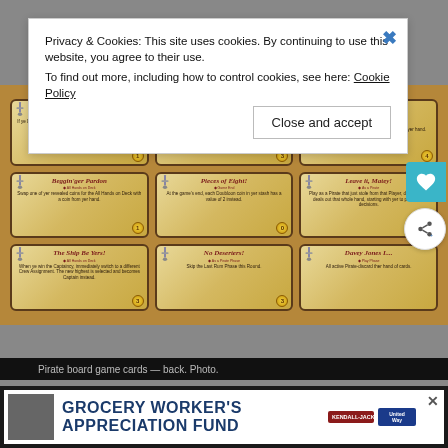Privacy & Cookies: This site uses cookies. By continuing to use this website, you agree to their use. To find out more, including how to control cookies, see here: Cookie Policy
[Figure (photo): A 3x3 grid of pirate-themed board game cards laid out on a wooden table. Cards include titles: A Weather Eye!, Thank ye, lad!, Not so fast, me hearty!, Beggin'ger Pardon, Pieces of Eight!, Leave it, Matey!, The Ship Be Yers!, No Deserters!, Davey Jones L... Each card has a parchment background with a sword icon, decorative text, and gold coin marker.]
Pirate board game cards — back. Photo.
[Figure (infographic): Advertisement banner: Grocery Worker's Appreciation Fund with Kendall Jackson and United Way logos and a photo of a smiling person.]